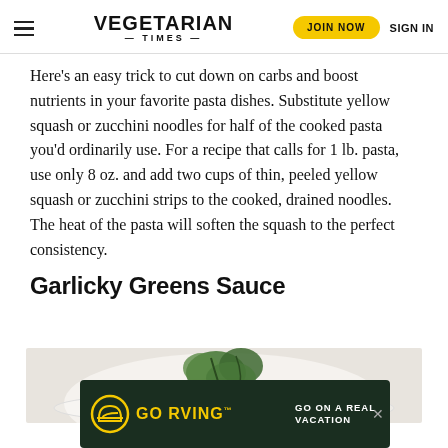VEGETARIAN TIMES | JOIN NOW | SIGN IN
Here’s an easy trick to cut down on carbs and boost nutrients in your favorite pasta dishes. Substitute yellow squash or zucchini noodles for half of the cooked pasta you’d ordinarily use. For a recipe that calls for 1 lb. pasta, use only 8 oz. and add two cups of thin, peeled yellow squash or zucchini strips to the cooked, drained noodles. The heat of the pasta will soften the squash to the perfect consistency.
Garlicky Greens Sauce
[Figure (photo): A white plate with pasta and green leafy vegetables on top, photographed from above.]
[Figure (infographic): GO RVING advertisement banner with yellow logo on dark green background. Text reads: GO RVING and GO ON A REAL VACATION]